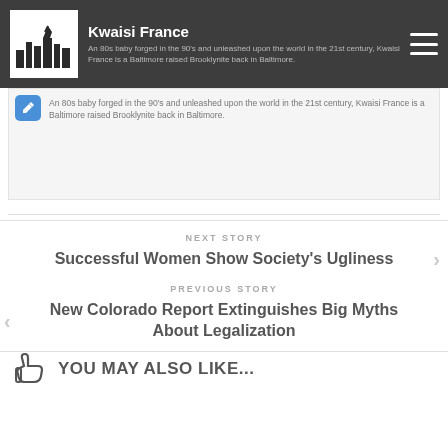Kwaisi France
An 80s baby forged in the 90's and unleashed upon the world in the 21st century, Kwaisi France is a Baltimore raised Brooklynite back in Baltimore.
NEXT STORY
Successful Women Show Society's Ugliness
PREVIOUS STORY
New Colorado Report Extinguishes Big Myths About Legalization
YOU MAY ALSO LIKE...